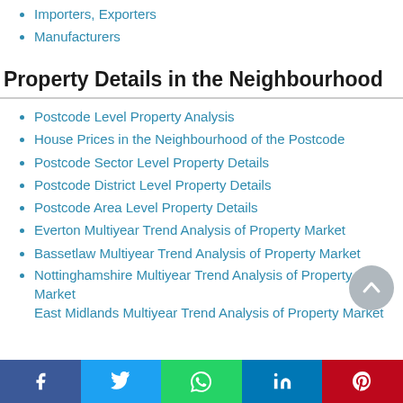Importers, Exporters
Manufacturers
Property Details in the Neighbourhood
Postcode Level Property Analysis
House Prices in the Neighbourhood of the Postcode
Postcode Sector Level Property Details
Postcode District Level Property Details
Postcode Area Level Property Details
Everton Multiyear Trend Analysis of Property Market
Bassetlaw Multiyear Trend Analysis of Property Market
Nottinghamshire Multiyear Trend Analysis of Property Market
East Midlands Multiyear Trend Analysis of Property Market